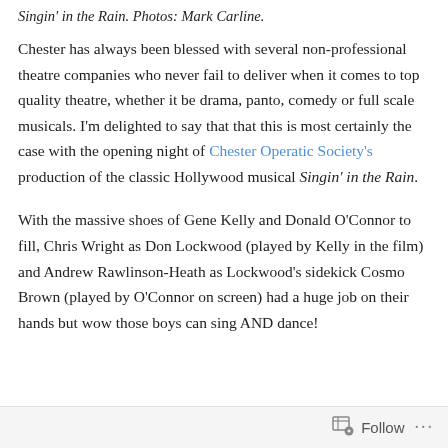Singin' in the Rain. Photos: Mark Carline.
Chester has always been blessed with several non-professional theatre companies who never fail to deliver when it comes to top quality theatre, whether it be drama, panto, comedy or full scale musicals. I'm delighted to say that that this is most certainly the case with the opening night of Chester Operatic Society's production of the classic Hollywood musical Singin' in the Rain.
With the massive shoes of Gene Kelly and Donald O'Connor to fill, Chris Wright as Don Lockwood (played by Kelly in the film) and Andrew Rawlinson-Heath as Lockwood's sidekick Cosmo Brown (played by O'Connor on screen) had a huge job on their hands but wow those boys can sing AND dance!
Follow